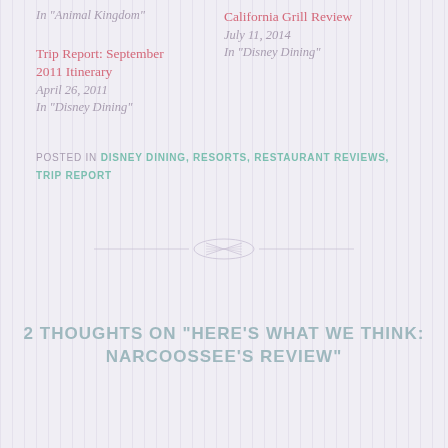In "Animal Kingdom"
California Grill Review
July 11, 2014
In "Disney Dining"
Trip Report: September 2011 Itinerary
April 26, 2011
In "Disney Dining"
POSTED IN DISNEY DINING, RESORTS, RESTAURANT REVIEWS, TRIP REPORT
[Figure (illustration): Decorative horizontal divider with ornamental lines and a small central flourish/knot motif]
2 THOUGHTS ON "HERE'S WHAT WE THINK: NARCOOSSEE'S REVIEW"